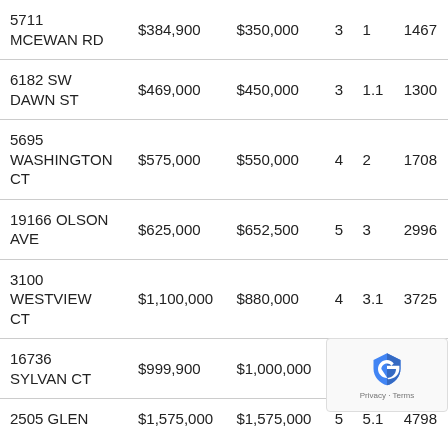| Address | List Price | Sale Price | Beds | Baths | Sq Ft |
| --- | --- | --- | --- | --- | --- |
| 5711 MCEWAN RD | $384,900 | $350,000 | 3 | 1 | 1467 |
| 6182 SW DAWN ST | $469,000 | $450,000 | 3 | 1.1 | 1300 |
| 5695 WASHINGTON CT | $575,000 | $550,000 | 4 | 2 | 1708 |
| 19166 OLSON AVE | $625,000 | $652,500 | 5 | 3 | 2996 |
| 3100 WESTVIEW CT | $1,100,000 | $880,000 | 4 | 3.1 | 3725 |
| 16736 SYLVAN CT | $999,900 | $1,000,000 | 3 | 3 | 4798 |
| 2505 GLEN | $1,575,000 | $1,575,000 | 5 | 5.1 | 4798 |